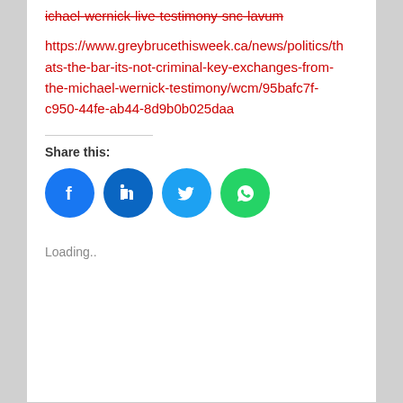ichael-wernick-live-testimony-snc-lavum
https://www.greybrucethisweek.ca/news/politics/thats-the-bar-its-not-criminal-key-exchanges-from-the-michael-wernick-testimony/wcm/95bafc7f-c950-44fe-ab44-8d9b0b025daa
Share this:
[Figure (infographic): Social share buttons: Facebook (blue circle), LinkedIn (dark blue circle), Twitter (light blue circle), WhatsApp (green circle)]
Loading..